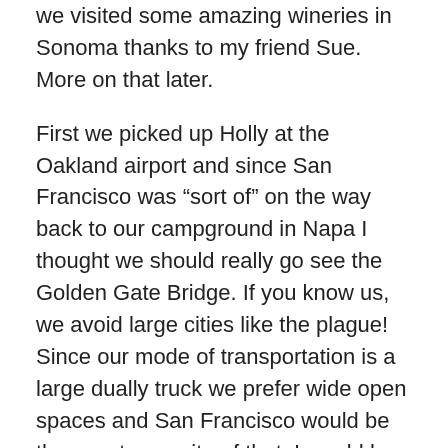we visited some amazing wineries in Sonoma thanks to my friend Sue. More on that later.
First we picked up Holly at the Oakland airport and since San Francisco was “sort of” on the way back to our campground in Napa I thought we should really go see the Golden Gate Bridge. If you know us, we avoid large cities like the plague! Since our mode of transportation is a large dually truck we prefer wide open spaces and San Francisco would be the exact opposite of that. I would love to visit that city, but until we are traveling in a smaller car I’m not sure how that’s going to happen.
Anyway, San Francisco being “sort of” on our way back to the campground means about a 2 hour detour if you are at all familiar with California traffic. 🙂
I think it was worth it to see this awesome bridge!